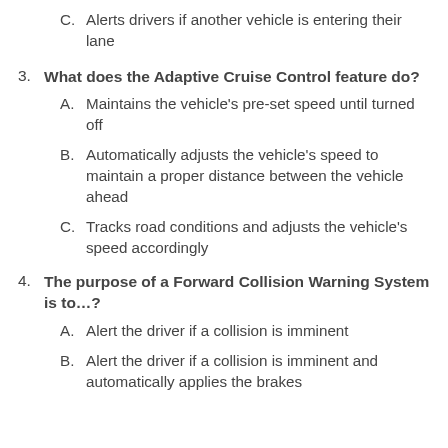C. Alerts drivers if another vehicle is entering their lane
3. What does the Adaptive Cruise Control feature do?
A. Maintains the vehicle's pre-set speed until turned off
B. Automatically adjusts the vehicle's speed to maintain a proper distance between the vehicle ahead
C. Tracks road conditions and adjusts the vehicle's speed accordingly
4. The purpose of a Forward Collision Warning System is to…?
A. Alert the driver if a collision is imminent
B. Alert the driver if a collision is imminent and automatically applies the brakes